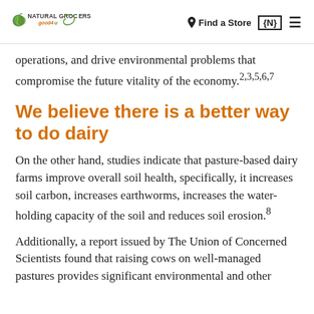Natural Grocers good4u | Find a Store | {N} | menu
operations, and drive environmental problems that compromise the future vitality of the economy.2,3,5,6,7
We believe there is a better way to do dairy
On the other hand, studies indicate that pasture-based dairy farms improve overall soil health, specifically, it increases soil carbon, increases earthworms, increases the water-holding capacity of the soil and reduces soil erosion.8
Additionally, a report issued by The Union of Concerned Scientists found that raising cows on well-managed pastures provides significant environmental and other